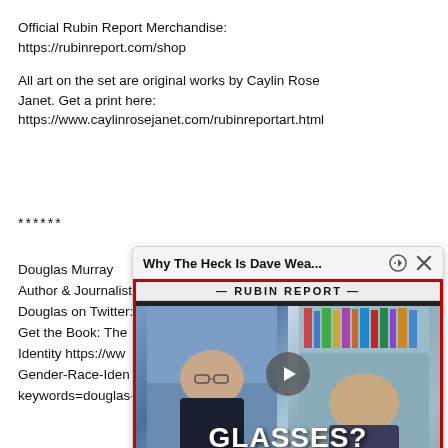Official Rubin Report Merchandise: https://rubinreport.com/shop
All art on the set are original works by Caylin Rose Janet. Get a print here: https://www.caylinrosejanet.com/rubinreportart.html
******
Douglas Murray
Author & Journalist
Douglas on Twitter:
Get the Book: The N
Identity https://ww
Gender-Race-Iden
keywords=douglas-
[Figure (screenshot): Video popup overlay showing 'Why The Heck Is Dave Wea...' with a Rubin Report video thumbnail featuring two men and the text 'GLASSES?' overlaid, with close and expand icons.]